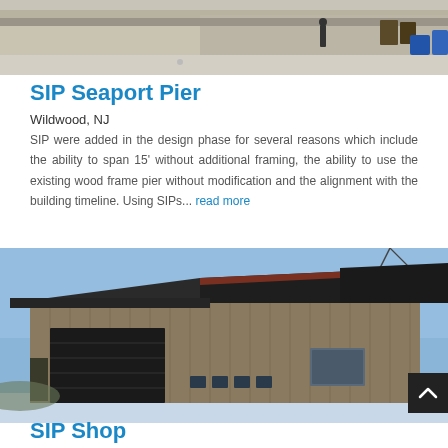[Figure (photo): Exterior photo of a pier/boardwalk area with a building facade, people walking, and outdoor signage]
SIP Seaport Pier
Wildwood, NJ
SIP were added in the design phase for several reasons which include the ability to span 15' without additional framing, the ability to use the existing wood frame pier without modification and the alignment with the building timeline. Using SIPs... read more
[Figure (photo): Exterior photo of a modern metal-clad SIP shop building with dark vertical siding, garage door, and small window, set against a clear blue sky]
SIP Shop